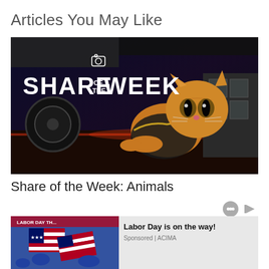Articles You May Like
[Figure (photo): Dark gaming screenshot showing a cat character wearing armor in a cyberpunk environment with text 'SHARE OF THE WEEK' overlaid]
Share of the Week: Animals
[Figure (photo): Advertisement showing American flags with text 'Labor Day is on the way!' and 'Sponsored | ACIMA']